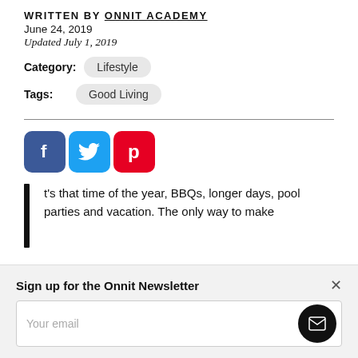WRITTEN BY ONNIT ACADEMY
June 24, 2019
Updated July 1, 2019
Category: Lifestyle
Tags: Good Living
[Figure (other): Social share icons: Facebook (blue), Twitter (light blue), Pinterest (red)]
t's that time of the year, BBQs, longer days, pool parties and vacation. The only way to make
Sign up for the Onnit Newsletter
Your email